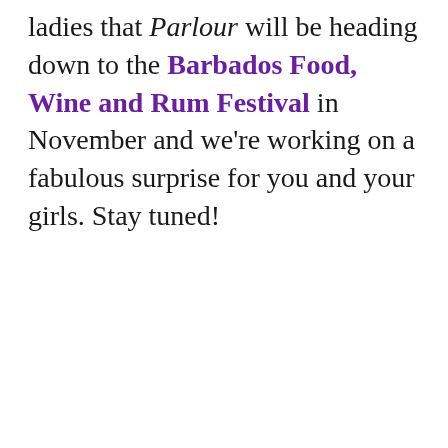ladies that Parlour will be heading down to the Barbados Food, Wine and Rum Festival in November and we're working on a fabulous surprise for you and your girls. Stay tuned!